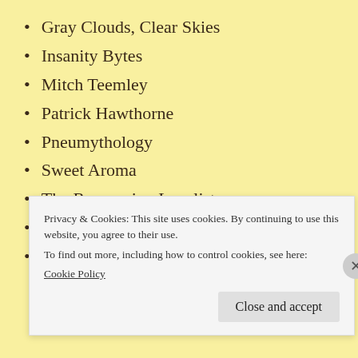Gray Clouds, Clear Skies
Insanity Bytes
Mitch Teemley
Patrick Hawthorne
Pneumythology
Sweet Aroma
The Recovering Legalist
Truth in Palmyra
Two Are Better Than One
Privacy & Cookies: This site uses cookies. By continuing to use this website, you agree to their use.
To find out more, including how to control cookies, see here:
Cookie Policy
Close and accept